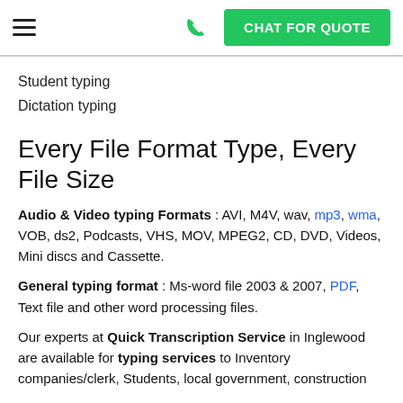CHAT FOR QUOTE
Student typing
Dictation typing
Every File Format Type, Every File Size
Audio & Video typing Formats : AVI, M4V, wav, mp3, wma, VOB, ds2, Podcasts, VHS, MOV, MPEG2, CD, DVD, Videos, Mini discs and Cassette.
General typing format : Ms-word file 2003 & 2007, PDF, Text file and other word processing files.
Our experts at Quick Transcription Service in Inglewood are available for typing services to Inventory companies/clerk, Students, local government, construction